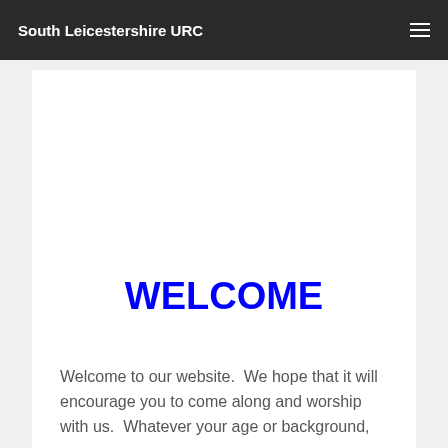South Leicestershire URC
WELCOME
Welcome to our website.  We hope that it will encourage you to come along and worship with us.  Whatever your age or background,